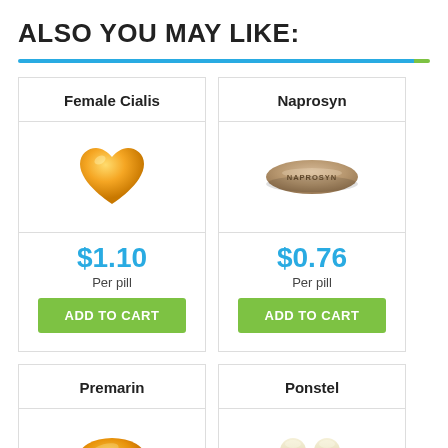ALSO YOU MAY LIKE:
[Figure (infographic): Product card for Female Cialis showing a heart-shaped orange/yellow pill, price $1.10 per pill, and ADD TO CART button]
[Figure (infographic): Product card for Naprosyn showing a tan oval pill labeled NAPROSYN, price $0.76 per pill, and ADD TO CART button]
[Figure (infographic): Product card for Premarin showing an orange oval pill (partially visible)]
[Figure (infographic): Product card for Ponstel showing two cream/white capsules with teal bands (partially visible)]